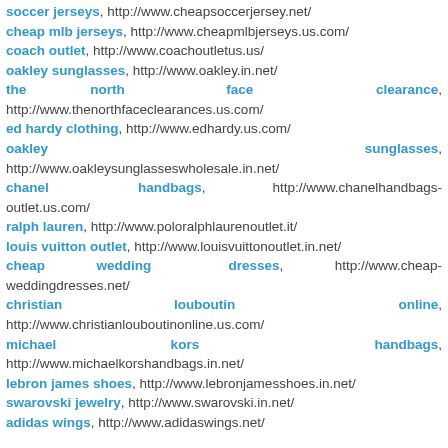soccer jerseys, http://www.cheapsoccerjersey.net/
cheap mlb jerseys, http://www.cheapmlbjerseys.us.com/
coach outlet, http://www.coachoutletus.us/
oakley sunglasses, http://www.oakley.in.net/
the north face clearance, http://www.thenorthfaceclearances.us.com/
ed hardy clothing, http://www.edhardy.us.com/
oakley sunglasses, http://www.oakleysunglasseswholesale.in.net/
chanel handbags, http://www.chanelhandbags-outlet.us.com/
ralph lauren, http://www.poloralphlaurenoutlet.it/
louis vuitton outlet, http://www.louisvuittonoutlet.in.net/
cheap wedding dresses, http://www.cheap-weddingdresses.net/
christian louboutin online, http://www.christianlouboutinonline.us.com/
michael kors handbags, http://www.michaelkorshandbags.in.net/
lebron james shoes, http://www.lebronjamesshoes.in.net/
swarovski jewelry, http://www.swarovski.in.net/
adidas wings, http://www.adidaswings.net/